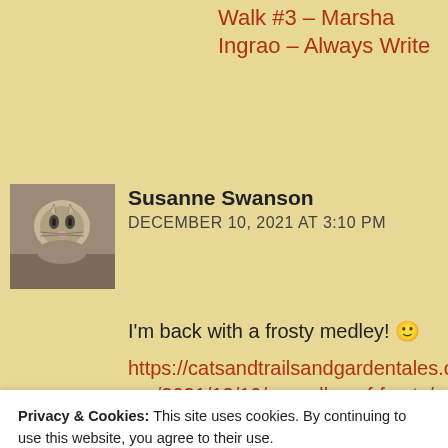Walk #3 – Marsha Ingrao – Always Write
[Figure (photo): Avatar photo of a tabby cat, used as commenter profile picture for Susanne Swanson]
Susanne Swanson
DECEMBER 10, 2021 AT 3:10 PM
I'm back with a frosty medley! 🙂
https://catsandtrailsandgardentales.com/2021/12/10/a-medley-of-frosty/
★ Liked by 1 person
Privacy & Cookies: This site uses cookies. By continuing to use this website, you agree to their use.
To find out more, including how to control cookies, see here: Cookie Policy
Close and accept
Pingback: Lovely Evergreens